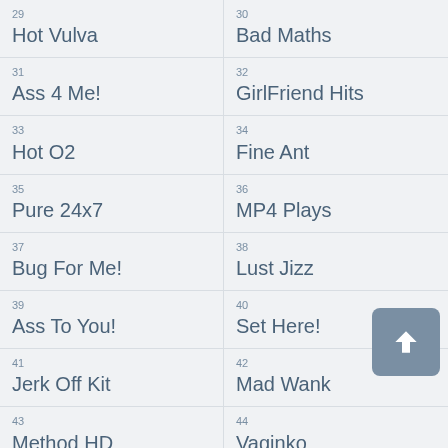29 Hot Vulva
30 Bad Maths
31 Ass 4 Me!
32 GirlFriend Hits
33 Hot O2
34 Fine Ant
35 Pure 24x7
36 MP4 Plays
37 Bug For Me!
38 Lust Jizz
39 Ass To You!
40 Set Here!
41 Jerk Off Kit
42 Mad Wank
43 Method HD
44 Vaginko
45 Sex Bonks
46 MP4 Wanks